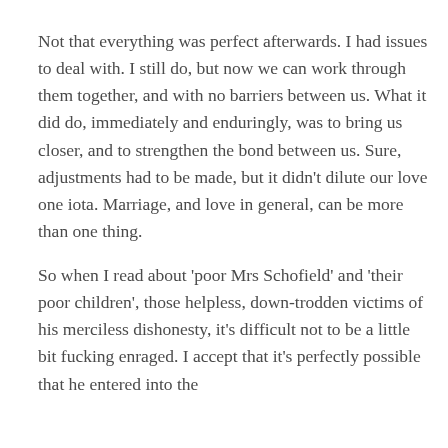Not that everything was perfect afterwards. I had issues to deal with. I still do, but now we can work through them together, and with no barriers between us. What it did do, immediately and enduringly, was to bring us closer, and to strengthen the bond between us. Sure, adjustments had to be made, but it didn't dilute our love one iota. Marriage, and love in general, can be more than one thing.
So when I read about 'poor Mrs Schofield' and 'their poor children', those helpless, down-trodden victims of his merciless dishonesty, it's difficult not to be a little bit fucking enraged. I accept that it's perfectly possible that he entered into the